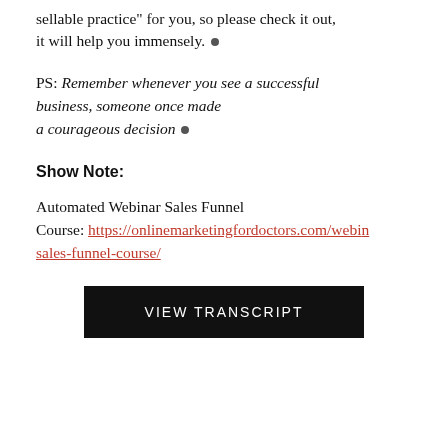sellable practice" for you, so please check it out, it will help you immensely. •
PS: Remember whenever you see a successful business, someone once made a courageous decision •
Show Note:
Automated Webinar Sales Funnel Course: https://onlinemarketingfordoctors.com/webinar-sales-funnel-course/
VIEW TRANSCRIPT